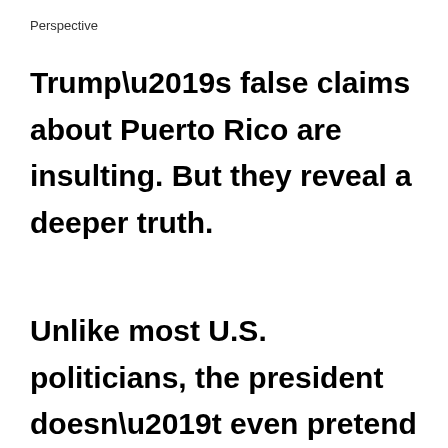Perspective
Trump’s false claims about Puerto Rico are insulting. But they reveal a deeper truth.
Unlike most U.S. politicians, the president doesn’t even pretend to treat the island equally.